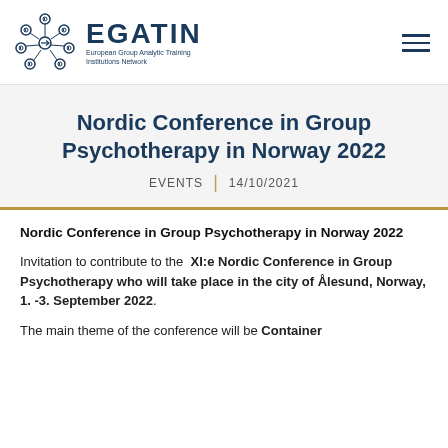[Figure (logo): EGATIN logo: circular network diagram with nodes and arrows in navy blue, followed by EGATIN text (European Group Analytic Training Institutions Network)]
Nordic Conference in Group Psychotherapy in Norway 2022
EVENTS | 14/10/2021
Nordic Conference in Group Psychotherapy in Norway 2022
Invitation to contribute to the XI:e Nordic Conference in Group Psychotherapy who will take place in the city of Ålesund, Norway, 1. -3. September 2022.
The main theme of the conference will be Container